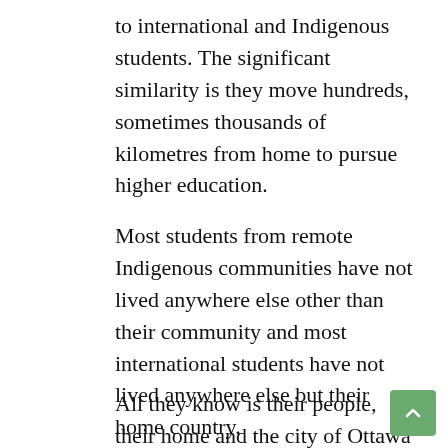to international and Indigenous students. The significant similarity is they move hundreds, sometimes thousands of kilometres from home to pursue higher education.
Most students from remote Indigenous communities have not lived anywhere else other than their community and most international students have not lived anywhere else but their home country.
All they know is their people, their home and the city of Ottawa is new